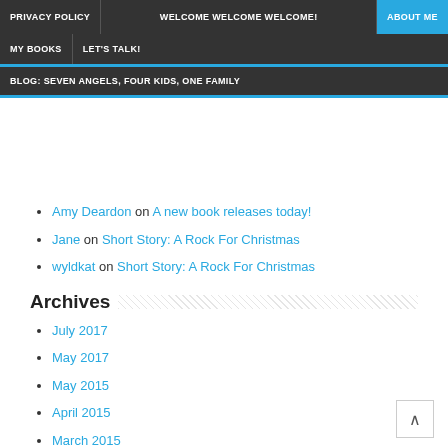PRIVACY POLICY | WELCOME WELCOME WELCOME! | ABOUT ME | MY BOOKS | LET'S TALK! | BLOG: SEVEN ANGELS, FOUR KIDS, ONE FAMILY
Amy Deardon on A new book releases today!
Jane on Short Story: A Rock For Christmas
wyldkat on Short Story: A Rock For Christmas
Archives
July 2017
May 2017
May 2015
April 2015
March 2015
February 2015
December 2014